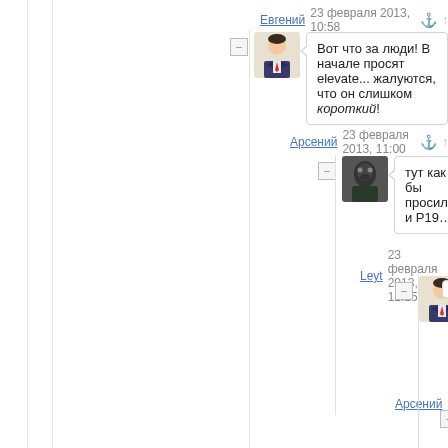Евгений  23 февраля 2013, 10:58  ⚓ ↑
Вот что за люди! В начале просят elevate... жалуются, что он слишком короткий!
Арсений  23 февраля 2013, 11:00  ⚓ ↑
тут как бы просили и Р19…
Leyt  23 февраля 2013, 11:15  ⚓ ↑
Ну, помимо Р19 еще шла р... лифте. Я дал, как мне каже...
Арсений  23 февраля 2013, 12:3...
Другими словами с Р... сталкивался?